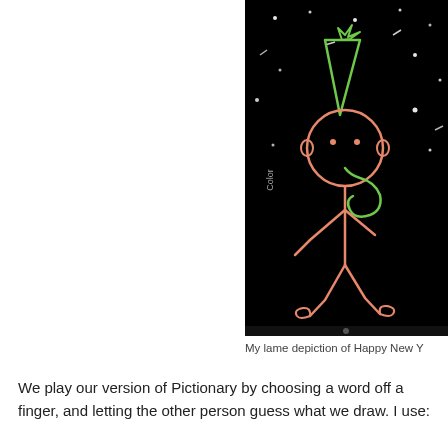[Figure (illustration): A black background digital drawing showing a glowing stick figure with a party hat drawn in neon pink/orange and green colors, with white dots resembling stars or confetti scattered around. The stick figure has a round head with a party hat on top, arms out, and curling feet. There is a vertical label reading 'Color' on the left side of the image.]
My lame depiction of Happy New Y
We play our version of Pictionary by choosing a word off a finger, and letting the other person guess what we draw. I use: